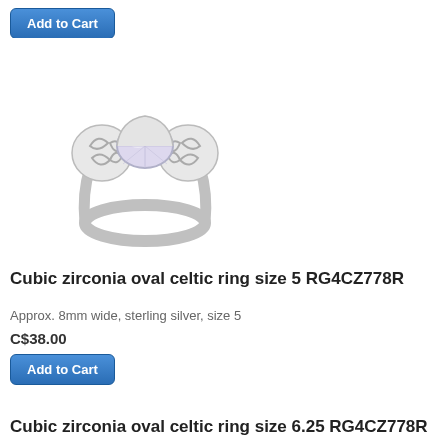[Figure (photo): Silver cubic zirconia oval celtic ring, top view showing decorative knotwork band and light purple oval stone center, size 5]
Cubic zirconia oval celtic ring size 5 RG4CZ778R
Approx. 8mm wide, sterling silver, size 5
C$38.00
[Figure (photo): Silver cubic zirconia oval celtic ring, top view showing decorative knotwork band and light purple oval stone center, size 6.25]
Cubic zirconia oval celtic ring size 6.25 RG4CZ778R